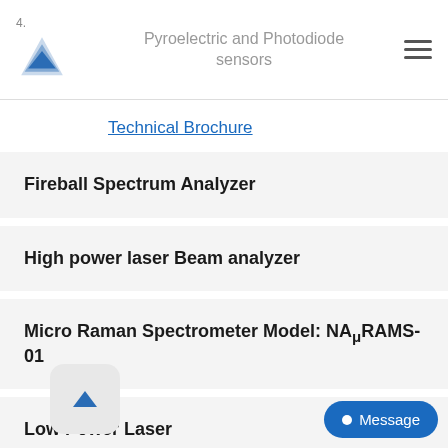4. Pyroelectric and Photodiode sensors
Technical Brochure
Fireball Spectrum Analyzer
High power laser Beam analyzer
Micro Raman Spectrometer Model: NAμRAMS-01
Low Power Laser